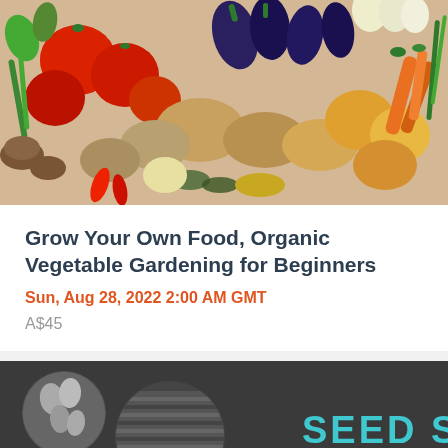[Figure (photo): Photo of assorted fresh vegetables including tomatoes, eggplants, potatoes, onions, carrots, peppers, and green onions arranged together]
Grow Your Own Food, Organic Vegetable Gardening for Beginners
Sun, Aug 28, 2022 2:00 AM GMT
A$45
[Figure (photo): Dark background image with circular close-up photos of seeds and seed pods, with the text 'SEED SAVING' in teal letters on the right side]